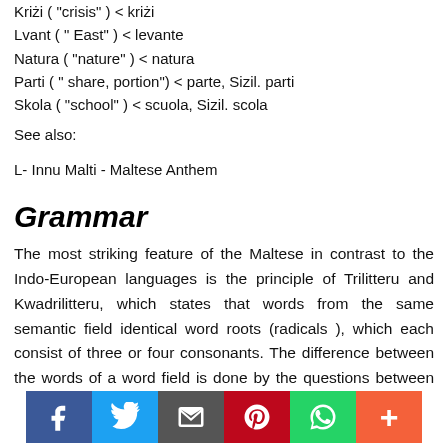Kriżi ( "crisis" ) < kriżi
Lvant ( " East" ) < levante
Natura ( "nature" ) < natura
Parti ( " share, portion") < parte, Sizil. parti
Skola ( "school" ) < scuola, Sizil. scola
See also:
L- Innu Malti - Maltese Anthem
Grammar
The most striking feature of the Maltese in contrast to the Indo-European languages is the principle of Trilitteru and Kwadrilitteru, which states that words from the same semantic field identical word roots (radicals ), which each consist of three or four consonants. The difference between the words of a word field is done by the questions between the root